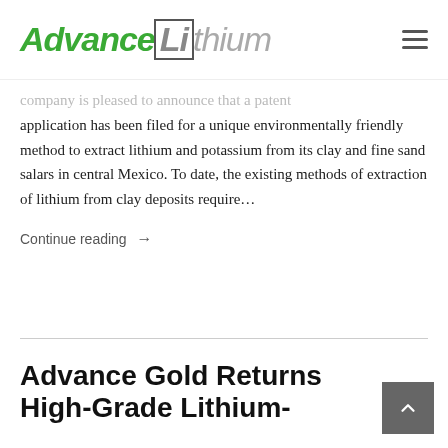Advance Lithium
Company is pleased to announce that a patent application has been filed for a unique environmentally friendly method to extract lithium and potassium from its clay and fine sand salars in central Mexico. To date, the existing methods of extraction of lithium from clay deposits require…
Continue reading →
Advance Gold Returns High-Grade Lithium-